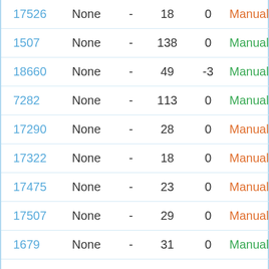| ID | None | - |  | 0 | Manual |
| --- | --- | --- | --- | --- | --- |
| 17526 | None | - | 18 | 0 | Manual |
| 1507 | None | - | 138 | 0 | Manual |
| 18660 | None | - | 49 | -3 | Manual |
| 7282 | None | - | 113 | 0 | Manual |
| 17290 | None | - | 28 | 0 | Manual |
| 17322 | None | - | 18 | 0 | Manual |
| 17475 | None | - | 23 | 0 | Manual |
| 17507 | None | - | 29 | 0 | Manual |
| 1679 | None | - | 31 | 0 | Manual |